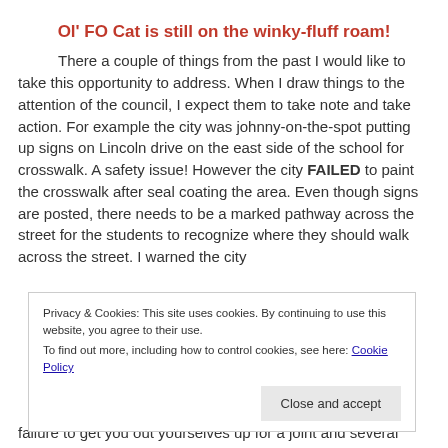Ol' FO Cat is still on the winky-fluff roam!
There a couple of things from the past I would like to take this opportunity to address.  When I draw things to the attention of the council, I expect them to take note and take action.  For example the city was johnny-on-the-spot putting up signs on Lincoln drive on the east side of the school for crosswalk.  A safety issue!  However the city FAILED to paint the crosswalk after seal coating the area.  Even though signs are posted, there needs to be a marked pathway across the street for the students to recognize where they should walk across the street.  I warned the city
Privacy & Cookies: This site uses cookies.  By continuing to use this website, you agree to their use.
To find out more, including how to control cookies, see here: Cookie Policy
failure to get you out yourselves up for a joint and several